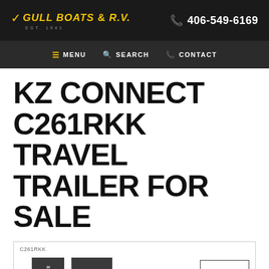Gull Boats & R.V. EST. 1941 | 406-549-6169
≡ MENU  🔍 SEARCH  📞 CONTACT
KZ Connect C261RKK Travel Trailer for Sale
[Figure (illustration): Floor plan diagram of KZ Connect C261RKK travel trailer showing DINETTE, 70' SOFA, and PASS THRU STORAGE labeled sections]